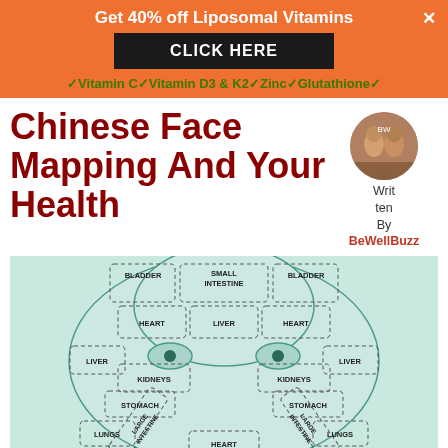Get 40% off Liposomal Vitamins × CLICK HERE ✓Vitamin C✓Vitamin D3 & K2✓Zinc✓Glutathione✓
Chinese Face Mapping And Your Health
Written By BeWellBuzz
[Figure (illustration): Chinese face mapping diagram showing a face with dashed regions labeled with organs: BLADDER (left/right forehead), SMALL INTESTINE (center forehead), HEART (left/right inner forehead), LIVER (center forehead and left/right cheeks), KIDNEYS (left/right cheeks), STOMACH (left/right lower cheeks), LARGE INTESTINE (left/right diagonal jaw), LUNGS (left/right jaw), HEART (chin center)]